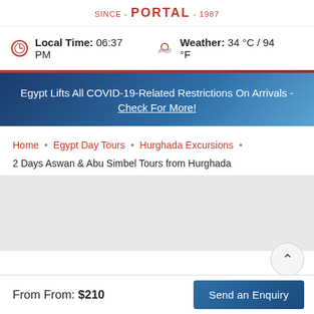SINCE - PORTAL - 1987
Local Time: 06:37 PM   Weather: 34 °C / 94 °F
Egypt Lifts All COVID-19-Related Restrictions On Arrivals - Check For More!
Home • Egypt Day Tours • Hurghada Excursions • 2 Days Aswan & Abu Simbel Tours from Hurghada
From From: $210
Send an Enquiry